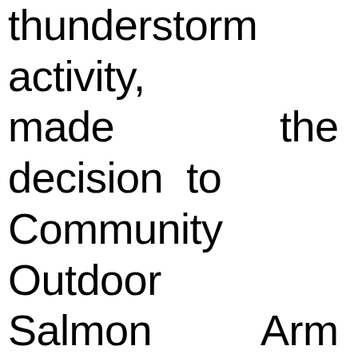thunderstorm activity, made the decision to Community Outdoor Salmon Arm tonight! We for understanding," sai with Armstrong Reg operative.

The original showtime w 11, but was postponed